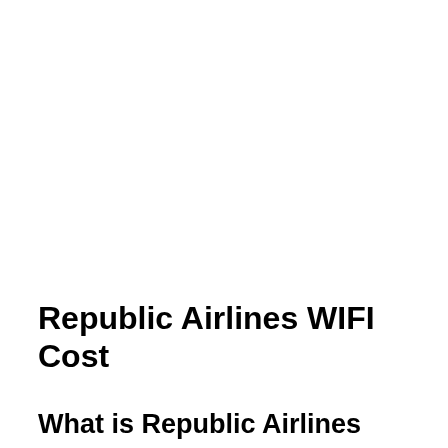Republic Airlines WIFI Cost
What is Republic Airlines